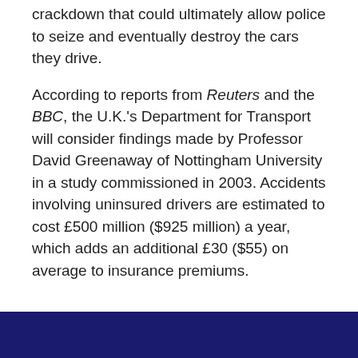crackdown that could ultimately allow police to seize and eventually destroy the cars they drive.
According to reports from Reuters and the BBC, the U.K.'s Department for Transport will consider findings made by Professor David Greenaway of Nottingham University in a study commissioned in 2003. Accidents involving uninsured drivers are estimated to cost £500 million ($925 million) a year, which adds an additional £30 ($55) on average to insurance premiums.